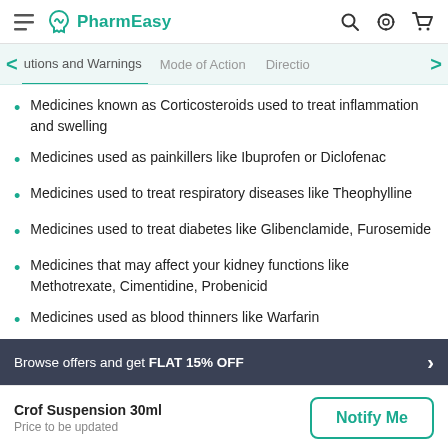PharmEasy
utions and Warnings   Mode of Action   Directio
Medicines known as Corticosteroids used to treat inflammation and swelling
Medicines used as painkillers like Ibuprofen or Diclofenac
Medicines used to treat respiratory diseases like Theophylline
Medicines used to treat diabetes like Glibenclamide, Furosemide
Medicines that may affect your kidney functions like Methotrexate, Cimentidine, Probenicid
Medicines used as blood thinners like Warfarin
Browse offers and get FLAT 15% OFF
Crof Suspension 30ml
Price to be updated